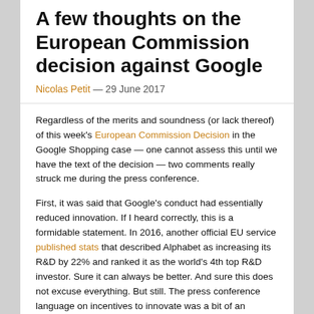A few thoughts on the European Commission decision against Google
Nicolas Petit — 29 June 2017
Regardless of the merits and soundness (or lack thereof) of this week's European Commission Decision in the Google Shopping case — one cannot assess this until we have the text of the decision — two comments really struck me during the press conference.
First, it was said that Google's conduct had essentially reduced innovation. If I heard correctly, this is a formidable statement. In 2016, another official EU service published stats that described Alphabet as increasing its R&D by 22% and ranked it as the world's 4th top R&D investor. Sure it can always be better. And sure this does not excuse everything. But still. The press conference language on incentives to innovate was a bit of an oversell, to say the least.
Second, the Commission views this decision as a "precedent" or as a "framework" that will inform the way dominant Internet